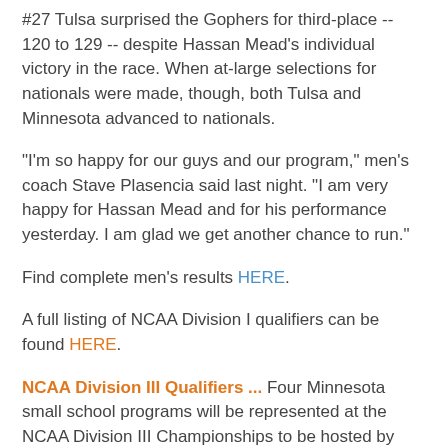#27 Tulsa surprised the Gophers for third-place -- 120 to 129 -- despite Hassan Mead's individual victory in the race. When at-large selections for nationals were made, though, both Tulsa and Minnesota advanced to nationals.
"I'm so happy for our guys and our program," men's coach Stave Plasencia said last night. "I am very happy for Hassan Mead and for his performance yesterday. I am glad we get another chance to run."
Find complete men's results HERE.
A full listing of NCAA Division I qualifiers can be found HERE.
NCAA Division III Qualifiers ... Four Minnesota small school programs will be represented at the NCAA Division III Championships to be hosted by UW - Oshkosh in Winneconne, Wisconsin on Saturday.
The MIAC champion Carleton College women's team and the MIAC runner-up St. Olaf men earned automatic berths to